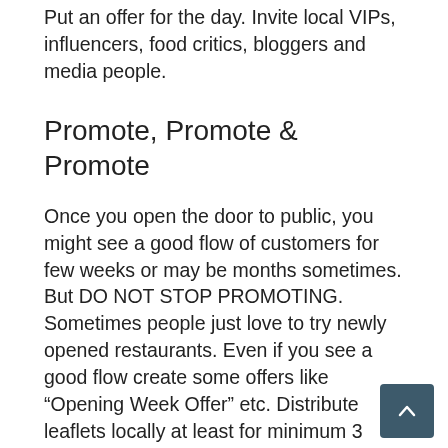Put an offer for the day. Invite local VIPs, influencers, food critics, bloggers and media people.
Promote, Promote & Promote
Once you open the door to public, you might see a good flow of customers for few weeks or may be months sometimes. But DO NOT STOP PROMOTING. Sometimes people just love to try newly opened restaurants. Even if you see a good flow create some offers like “Opening Week Offer” etc. Distribute leaflets locally at least for minimum 3 months, use Social Media, SEO, collect Email & Phone database and keep on promoting.
Great Food, Great Environment & Amazing Service